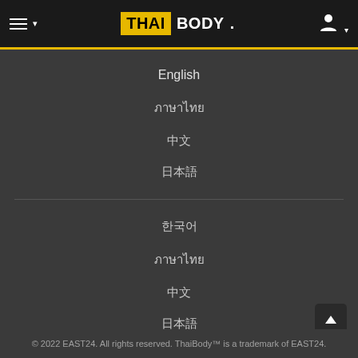≡ THAI BODY. [user icon]
English
ภาษาไทย
中文
日本語
한국어
ภาษาไทย
中文
日本語
한국어
© 2022 EAST24. All rights reserved. ThaiBody™ is a trademark of EAST24.